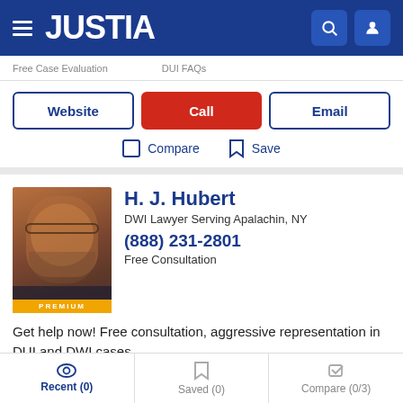JUSTIA
Free Case Evaluation    DUI FAQs
Website | Call | Email
Compare   Save
H. J. Hubert
DWI Lawyer Serving Apalachin, NY
(888) 231-2801
Free Consultation
Get help now! Free consultation, aggressive representation in DUI and DWI cases.
View Profile    Video Conferencing
Recent (0)   Saved (0)   Compare (0/3)